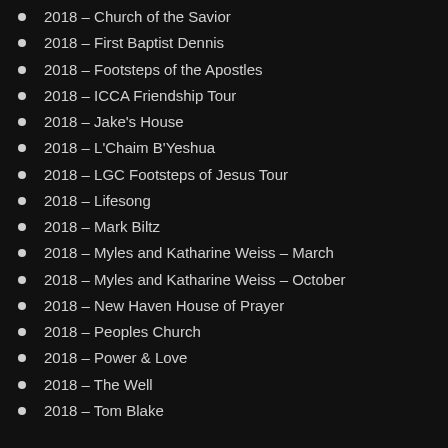2018 – Church of the Savior
2018 – First Baptist Dennis
2018 – Footsteps of the Apostles
2018 – ICCA Friendship Tour
2018 – Jake's House
2018 – L'Chaim B'Yeshua
2018 – LGC Footsteps of Jesus Tour
2018 – Lifesong
2018 – Mark Biltz
2018 – Myles and Katharine Weiss – March
2018 – Myles and Katharine Weiss – October
2018 – New Haven House of Prayer
2018 – Peoples Church
2018 – Power & Love
2018 – The Well
2018 – Tom Blake